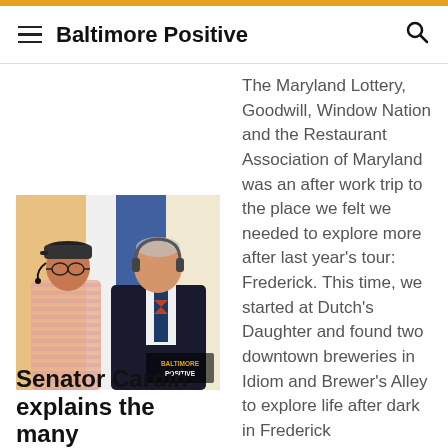Baltimore Positive
The Maryland Lottery, Goodwill, Window Nation and the Restaurant Association of Maryland was an after work trip to the place we felt we needed to explore more after last year's tour: Frederick. This time, we started at Dutch's Daughter and found two downtown breweries in Idiom and Brewer's Alley to explore life after dark in Frederick
[Figure (photo): Two men wearing headsets talking in a broadcast setting with Baltimore Positive logo visible]
Senator Cardin explains the many